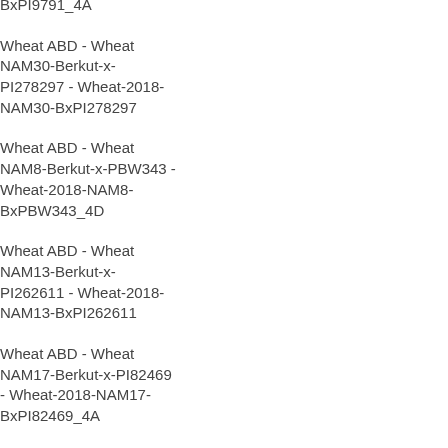BxPI9791_4A
Wheat ABD - Wheat NAM30-Berkut-x-PI278297 - Wheat-2018-NAM30-BxPI278297
Wheat ABD - Wheat NAM8-Berkut-x-PBW343 - Wheat-2018-NAM8-BxPBW343_4D
Wheat ABD - Wheat NAM13-Berkut-x-PI262611 - Wheat-2018-NAM13-BxPI262611
Wheat ABD - Wheat NAM17-Berkut-x-PI82469 - Wheat-2018-NAM17-BxPI82469_4A
Wheat ABD - Wheat NAM26-Berkut-x-PI185715 - Wheat-2018-NAM26-BxPI185715
Wheat ABD - Wheat NAM3-Berkut-x-PI283147 - Wheat-2018-NAM3-BxPI283147_4A
Wheat ABD - Wheat